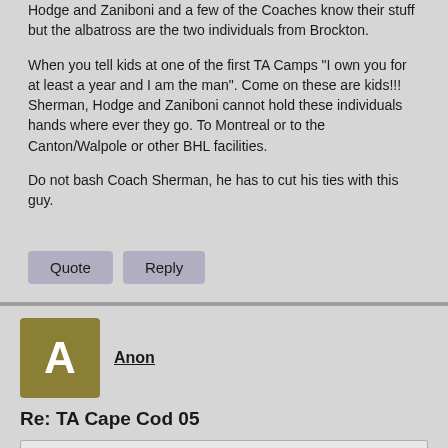Hodge and Zaniboni and a few of the Coaches know their stuff but the albatross are the two individuals from Brockton.
When you tell kids at one of the first TA Camps "I own you for at least a year and I am the man". Come on these are kids!!! Sherman, Hodge and Zaniboni cannot hold these individuals hands where ever they go. To Montreal or to the Canton/Walpole or other BHL facilities.
Do not bash Coach Sherman, he has to cut his ties with this guy.
Quote   Reply
Anon
Re: TA Cape Cod 05
Anon
Mike Sherman is a very nice and genuine person.